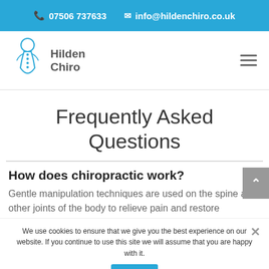07506 737633   info@hildenchiro.co.uk
[Figure (logo): Hilden Chiro logo with stylized spine figure and text 'Hilden Chiro']
Frequently Asked Questions
How does chiropractic work?
Gentle manipulation techniques are used on the spine and other joints of the body to relieve pain and restore
We use cookies to ensure that we give you the best experience on our website. If you continue to use this site we will assume that you are happy with it.
Ok